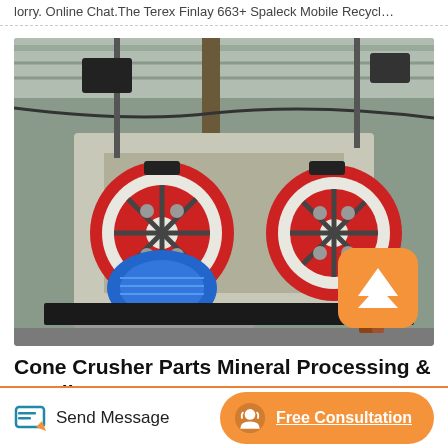lorry. Online Chat.The Terex Finlay 663+ Spaleck Mobile Recycl…
[Figure (photo): Industrial cone crusher machine inside a warehouse/facility, showing large red and black flywheels, a blue electric motor, and metal framework structure.]
Cone Crusher Parts Mineral Processing & Metallurgy
Send Message
Free Consultation